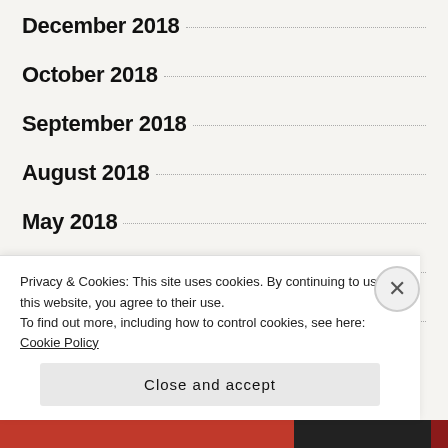December 2018
October 2018
September 2018
August 2018
May 2018
April 2018
February 2018
August 2017
Privacy & Cookies: This site uses cookies. By continuing to use this website, you agree to their use. To find out more, including how to control cookies, see here: Cookie Policy
Close and accept